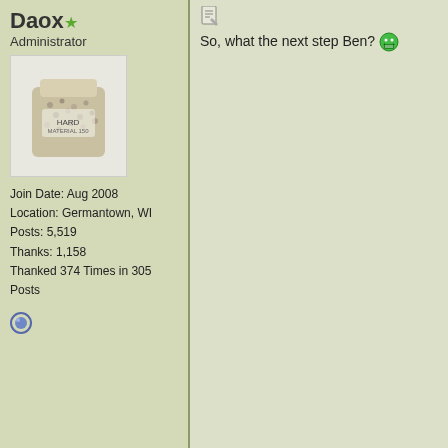Daox ★ Administrator
[Figure (photo): Avatar image of a bag/container of gravel or stone material, white bag with label]
Join Date: Aug 2008
Location: Germantown, WI
Posts: 5,519
Thanks: 1,158
Thanked 374 Times in 305 Posts
[Figure (illustration): Online/offline status icon - blue circle]
So, what the next step Ben? 😁
03-06-09, 12:21 PM
bennelson Home-Wrecker
Join Date: Sep 2008
Location: SE Wisconsin
Posts: 546
Thanks: 3
Thanked 165 Times in 96 Posts
Quote:
Originally Posted by Daox
So, what the next step Ben?
Um, finish upgrading my electric car, help y rebuild my garage.......